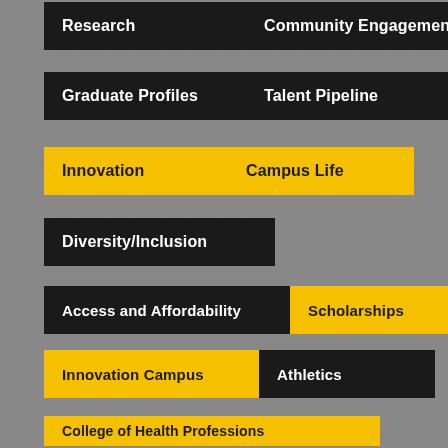Research
Community Engagement
Graduate Profiles
Talent Pipeline
Innovation
Campus Life
Diversity/Inclusion
Access and Affordability
Scholarships
Innovation Campus
Athletics
College of Health Professions
College of Applied Studies